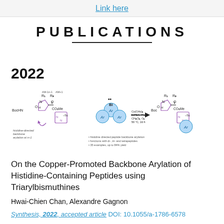Link here
PUBLICATIONS
2022
[Figure (illustration): Chemical reaction scheme showing histidine-directed backbone arylation of peptides using triarylbismuthines. Reactant peptide structure with BocHN group, histidine residue with N-Trt protection, reacts with Cu(OAc)2, DiPEA, Phen, CH2Cl2, O2, 50°C, 16h to give arylated product. Bullet points: histidine directed peptide backbone arylation, functions with di-, tri- and tetrapeptides, 35 examples, up to 84% yield.]
On the Copper-Promoted Backbone Arylation of Histidine-Containing Peptides using Triarylbismuthines
Hwai-Chien Chan, Alexandre Gagnon
Synthesis, 2022, accepted article DOI: 10.1055/a-1786-6578